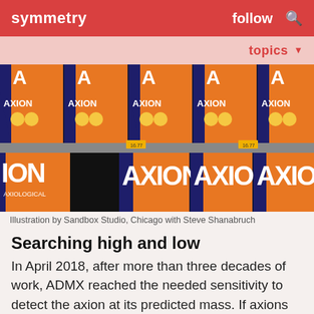symmetry   follow
topics
[Figure (photo): Rows of AXION themed book/magazine covers with orange and blue design featuring illustrated faces, arranged on shelves]
Illustration by Sandbox Studio, Chicago with Steve Shanabruch
Searching high and low
In April 2018, after more than three decades of work, ADMX reached the needed sensitivity to detect the axion at its predicted mass. If axions do indeed exist, it could detect an axion any day.